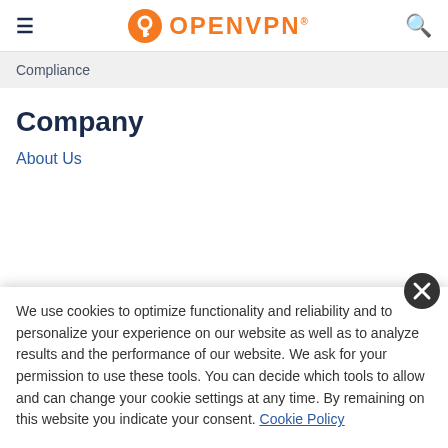OpenVPN
Compliance
Company
About Us
We use cookies to optimize functionality and reliability and to personalize your experience on our website as well as to analyze results and the performance of our website. We ask for your permission to use these tools. You can decide which tools to allow and can change your cookie settings at any time. By remaining on this website you indicate your consent. Cookie Policy